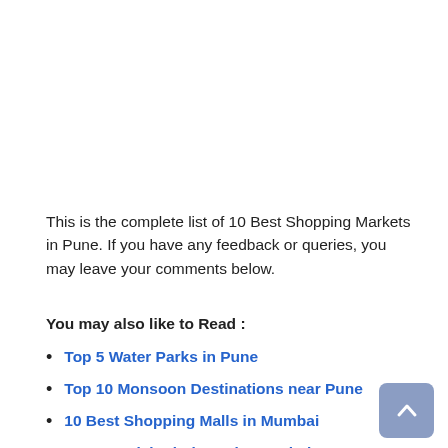This is the complete list of 10 Best Shopping Markets in Pune. If you have any feedback or queries, you may leave your comments below.
You may also like to Read :
Top 5 Water Parks in Pune
Top 10 Monsoon Destinations near Pune
10 Best Shopping Malls in Mumbai
10 Most Visited Places in Mumbai